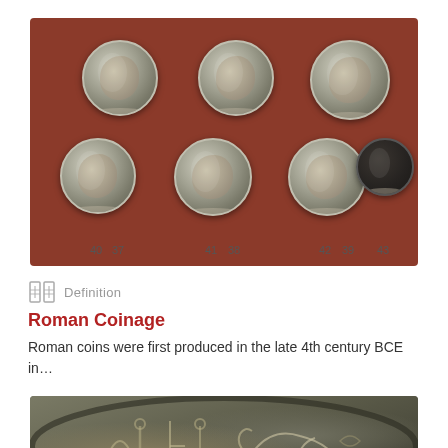[Figure (photo): Seven ancient Roman silver coins displayed on a dark red background. Top row: coins numbered 37, 38, 39. Bottom row: coins numbered 40, 41, 42, 43. Each coin shows an imperial portrait (obverse). Coin 43 is darker/bronze.]
Definition
Roman Coinage
Roman coins were first produced in the late 4th century BCE in…
[Figure (photo): Close-up detail of an ancient coin showing engraved symbols and a horse or animal figure in relief, silver-grey in color.]